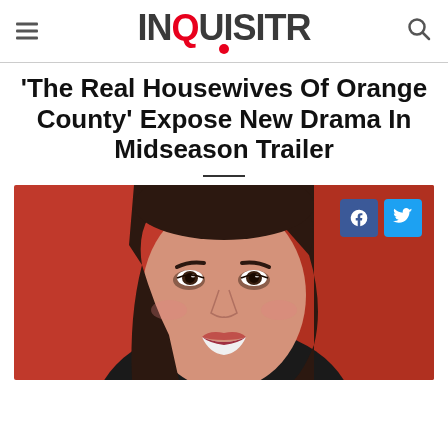INQUISITR
'The Real Housewives Of Orange County' Expose New Drama In Midseason Trailer
[Figure (photo): Close-up photo of a smiling woman with dark hair against a red background, with Facebook and Twitter share buttons overlaid in the top right corner.]